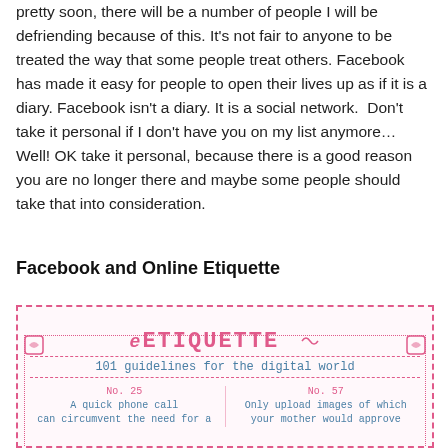pretty soon, there will be a number of people I will be defriending because of this. It's not fair to anyone to be treated the way that some people treat others. Facebook has made it easy for people to open their lives up as if it is a diary. Facebook isn't a diary. It is a social network. Don't take it personal if I don't have you on my list anymore… Well! OK take it personal, because there is a good reason you are no longer there and maybe some people should take that into consideration.
Facebook and Online Etiquette
[Figure (infographic): eETIQUETTE infographic: '101 guidelines for the digital world'. Shows No. 25: 'A quick phone call can circumvent the need for a' and No. 57: 'Only upload images of which your mother would approve'. Pink/rose and blue color scheme with dotted border.]